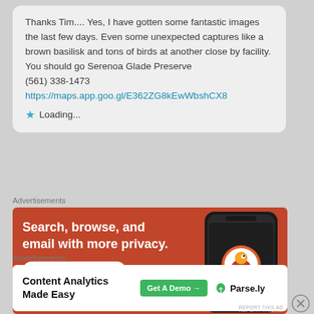Thanks Tim.... Yes, I have gotten some fantastic images the last few days. Even some unexpected captures like a brown basilisk and tons of birds at another close by facility. You should go Serenoa Glade Preserve
(561) 338-1473
https://maps.app.goo.gl/E362ZG8kEwWbshCX8
★ Loading...
Advertisements
[Figure (screenshot): DuckDuckGo advertisement: orange background with phone graphic, text 'Search, browse, and email with more privacy. All in One Free App', DuckDuckGo logo on phone]
Advertisements
[Figure (screenshot): Parse.ly advertisement: white background, 'Content Analytics Made Easy', green 'Get A Demo →' button, Parse.ly logo]